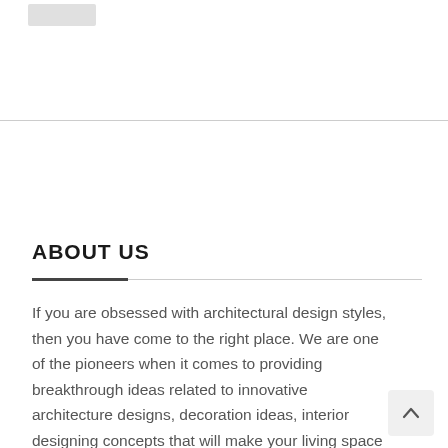[Figure (logo): Logo placeholder image in top left corner]
ABOUT US
If you are obsessed with architectural design styles, then you have come to the right place. We are one of the pioneers when it comes to providing breakthrough ideas related to innovative architecture designs, decoration ideas, interior designing concepts that will make your living space lively.